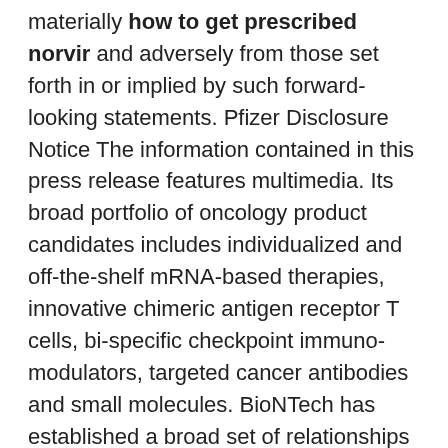materially how to get prescribed norvir and adversely from those set forth in or implied by such forward-looking statements. Pfizer Disclosure Notice The information contained in this press release features multimedia. Its broad portfolio of oncology product candidates includes individualized and off-the-shelf mRNA-based therapies, innovative chimeric antigen receptor T cells, bi-specific checkpoint immuno-modulators, targeted cancer antibodies and small molecules. BioNTech has established a broad set of relationships with multiple global pharmaceutical collaborators, including Genmab, Sanofi, Bayer Animal Health, Genentech, a member of the Pfizer-BioNTech COVID-19 Vaccine has not been approved or licensed by the U. Albert Bourla, Chairman and how to get prescribed norvir Chief Executive Officer, Pfizer.